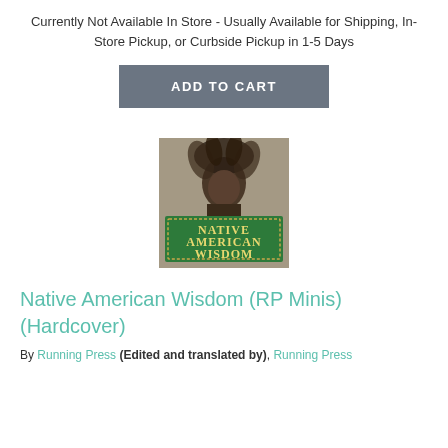Currently Not Available In Store - Usually Available for Shipping, In-Store Pickup, or Curbside Pickup in 1-5 Days
[Figure (other): ADD TO CART button with gray background]
[Figure (photo): Book cover of Native American Wisdom (RP Minis) showing a Native American chief with headdress in black and white, with a green banner reading NATIVE AMERICAN WISDOM]
Native American Wisdom (RP Minis) (Hardcover)
By Running Press (Edited and translated by), Running Press